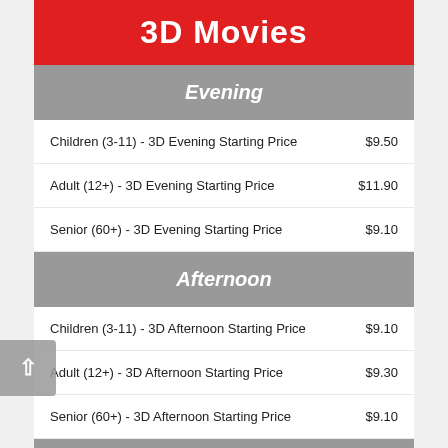3D Movies
Evening
Children (3-11) - 3D Evening Starting Price   $9.50
Adult (12+) - 3D Evening Starting Price   $11.90
Senior (60+) - 3D Evening Starting Price   $9.10
Afternoon
Children (3-11) - 3D Afternoon Starting Price   $9.10
Adult (12+) - 3D Afternoon Starting Price   $9.30
Senior (60+) - 3D Afternoon Starting Price   $9.10